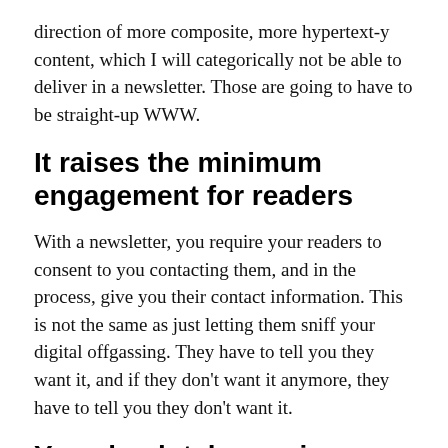direction of more composite, more hypertext-y content, which I will categorically not be able to deliver in a newsletter. Those are going to have to be straight-up WWW.
It raises the minimum engagement for readers
With a newsletter, you require your readers to consent to you contacting them, and in the process, give you their contact information. This is not the same as just letting them sniff your digital offgassing. They have to tell you they want it, and if they don't want it anymore, they have to tell you they don't want it.
You absolutely require an